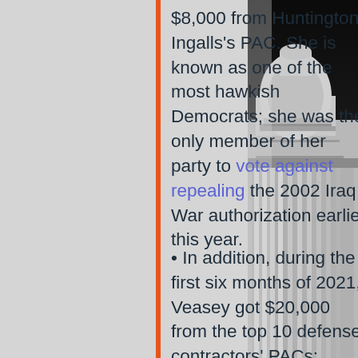$8,000 from Huntington Ingalls's PAC. She is known as one of the most hawkish Democrats; she was the only member of her party to vote against repealing the 2002 Iraq War authorization earlier this year.
• In addition, during the first six months of 2021, Veasey got $20,000 from the top 10 defense contractors' PACs; Murphy got $12,000; Carbajal got $8,500; and
[Figure (photo): Black and white photograph of the US Capitol building dome and columns, shown from a low angle on the right side of the page.]